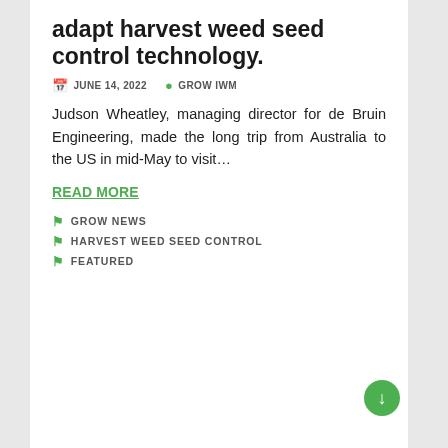adapt harvest weed seed control technology.
JUNE 14, 2022   GROW IWM
Judson Wheatley, managing director for de Bruin Engineering, made the long trip from Australia to the US in mid-May to visit...
READ MORE
GROW NEWS
HARVEST WEED SEED CONTROL
FEATURED